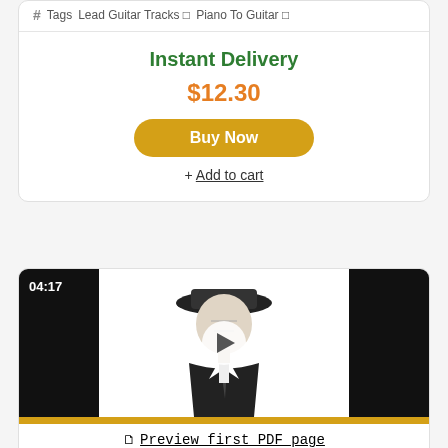# Tags  Lead Guitar Tracks □  Piano To Guitar □
Instant Delivery
$12.30
Buy Now
+ Add to cart
[Figure (screenshot): Video thumbnail showing a man in a hat and suit, with black bars on left and right sides, a play button in the center, and a gold progress bar at the bottom. Timestamp shows 04:17.]
Preview first PDF page